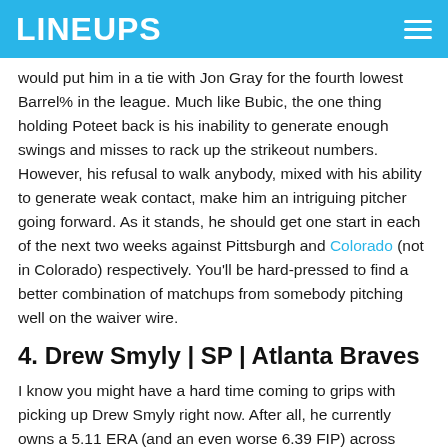LINEUPS
would put him in a tie with Jon Gray for the fourth lowest Barrel% in the league. Much like Bubic, the one thing holding Poteet back is his inability to generate enough swings and misses to rack up the strikeout numbers. However, his refusal to walk anybody, mixed with his ability to generate weak contact, make him an intriguing pitcher going forward. As it stands, he should get one start in each of the next two weeks against Pittsburgh and Colorado (not in Colorado) respectively. You'll be hard-pressed to find a better combination of matchups from somebody pitching well on the waiver wire.
4. Drew Smyly | SP | Atlanta Braves
I know you might have a hard time coming to grips with picking up Drew Smyly right now. After all, he currently owns a 5.11 ERA (and an even worse 6.39 FIP) across seven starts and 37 innings pitched. He leads the National League with 11 home runs allowed, 11! That being said, he allowed five